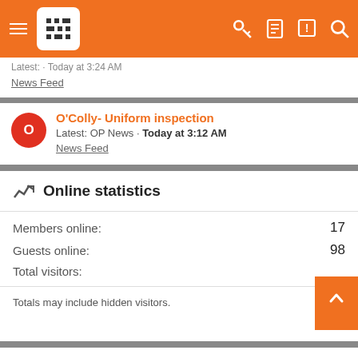Navigation bar with hamburger menu, app logo, and icons
Latest: · Today at 3:24 AM
News Feed
O'Colly- Uniform inspection
Latest: OP News · Today at 3:12 AM
News Feed
Online statistics
|  |  |
| --- | --- |
| Members online: | 17 |
| Guests online: | 98 |
| Total visitors: |  |
Totals may include hidden visitors.
Share this page